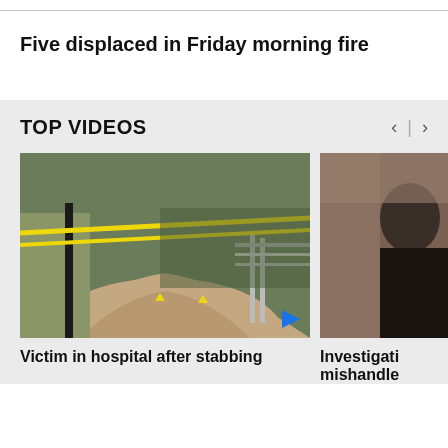Five displaced in Friday morning fire
TOP VIDEOS
[Figure (screenshot): Crime scene video thumbnail showing a path with yellow police tape and evidence markers, with a blue play button in the bottom right corner]
Victim in hospital after stabbing
[Figure (screenshot): Partially visible video thumbnail showing a person in a dark top against a brownish background]
Investigati mishandle